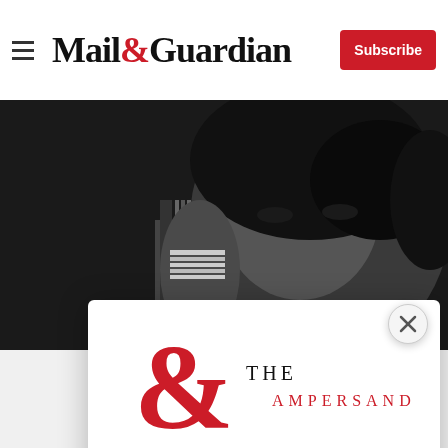Mail&Guardian | Subscribe
[Figure (photo): Black and white photo of a woman with braided hair and bangles, partially obscured, used as background]
[Figure (logo): The Ampersand newsletter logo — large red ampersand with 'THE AMPERSAND' text in serif font]
Stay informed. Every weekday.
E-mail Address
Signup now